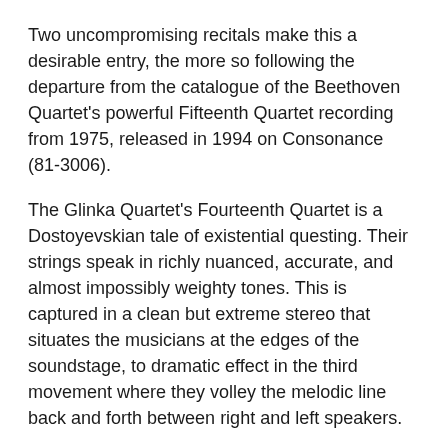Two uncompromising recitals make this a desirable entry, the more so following the departure from the catalogue of the Beethoven Quartet's powerful Fifteenth Quartet recording from 1975, released in 1994 on Consonance (81-3006).
The Glinka Quartet's Fourteenth Quartet is a Dostoyevskian tale of existential questing. Their strings speak in richly nuanced, accurate, and almost impossibly weighty tones. This is captured in a clean but extreme stereo that situates the musicians at the edges of the soundstage, to dramatic effect in the third movement where they volley the melodic line back and forth between right and left speakers.
The Glinka Quartet played Tchaikovsky at Shostakovich's civic funeral two years before this recording, and disbanded the next year due to the emigration to the Netherlands of their viola player and cellist. It is